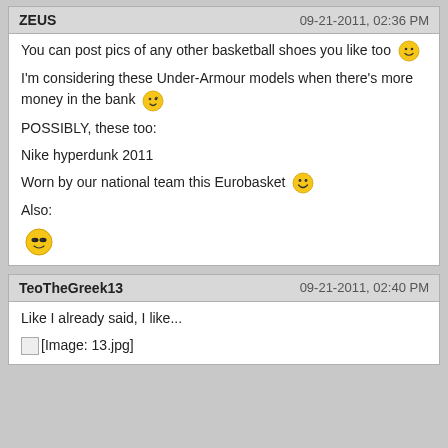ZEUS | 09-21-2011, 02:36 PM
You can post pics of any other basketball shoes you like too 🙂
I'm considering these Under-Armour models when there's more money in the bank 😏
POSSIBLY, these too:
Nike hyperdunk 2011
Worn by our national team this Eurobasket 😁
Also:
[Figure (other): Cool sunglasses smiley emoji]
TeoTheGreek13 | 09-21-2011, 02:40 PM
Like I already said, I like...
[Figure (photo): [Image: 13.jpg]]